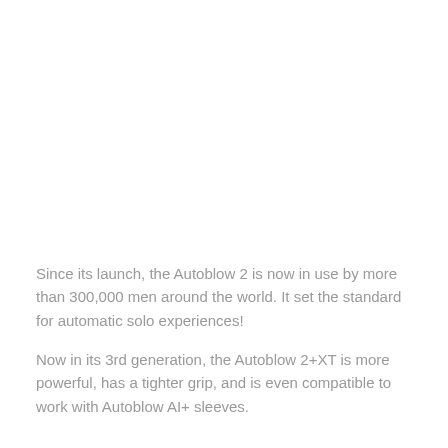Since its launch, the Autoblow 2 is now in use by more than 300,000 men around the world. It set the standard for automatic solo experiences!
Now in its 3rd generation, the Autoblow 2+XT is more powerful, has a tighter grip, and is even compatible to work with Autoblow AI+ sleeves.